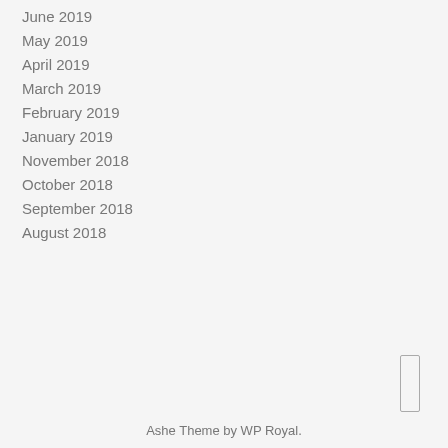June 2019
May 2019
April 2019
March 2019
February 2019
January 2019
November 2018
October 2018
September 2018
August 2018
Ashe Theme by WP Royal.